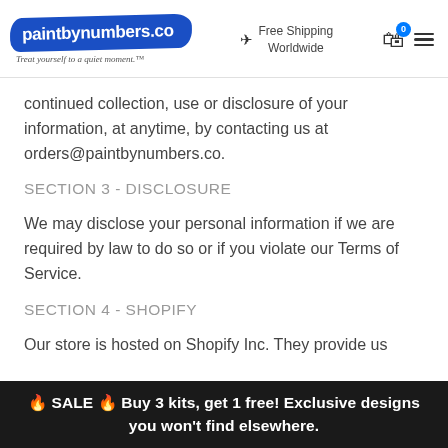paintbynumbers.co — Treat yourself to a quiet moment. | Free Shipping Worldwide
continued collection, use or disclosure of your information, at anytime, by contacting us at orders@paintbynumbers.co.
SECTION 3 - DISCLOSURE
We may disclose your personal information if we are required by law to do so or if you violate our Terms of Service.
SECTION 4 - SHOPIFY
Our store is hosted on Shopify Inc. They provide us
🔥 SALE 🔥 Buy 3 kits, get 1 free! Exclusive designs you won't find elsewhere.